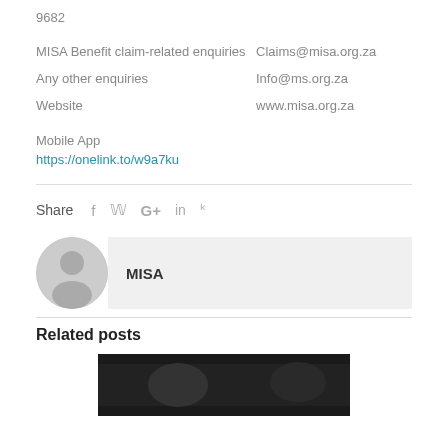9682
MISA Benefit claim-related enquiries    Claims@misa.org.za
Any other enquiries    Info@ms.org.za
Website    www.misa.org.za
Mobile App
https://onelink.to/w9a7ku
Share
[Figure (illustration): Avatar placeholder circle icon with a person silhouette]
MISA
Related posts
[Figure (photo): Dark black and white photo at the bottom of the page]